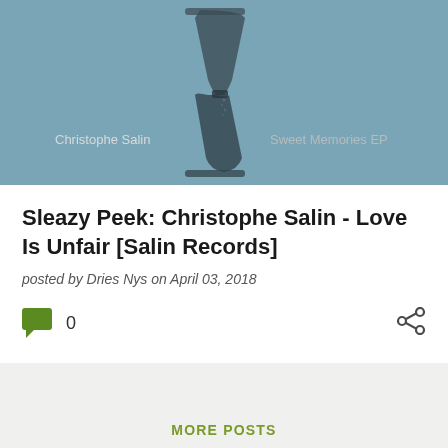[Figure (photo): Album cover image with teal/blue-grey background showing a blurred hourglass figure. Text on image reads 'Christophe Salin' on the left and 'Sweet Memories EP' on the right.]
Sleazy Peek: Christophe Salin - Love Is Unfair [Salin Records]
posted by Dries Nys on April 03, 2018
0
MORE POSTS
Powered by Blogger